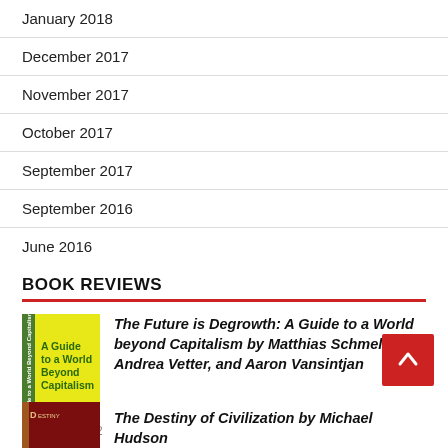January 2018
December 2017
November 2017
October 2017
September 2017
September 2016
June 2016
BOOK REVIEWS
[Figure (illustration): Yellow book cover: A Guide to a World Beyond Capitalism]
The Future is Degrowth: A Guide to a World beyond Capitalism by Matthias Schmelzer, Andrea Vetter, and Aaron Vansintjan
July 6, 2022
[Figure (illustration): Red book cover: The Destiny of Civilization by Michael Hudson]
The Destiny of Civilization by Michael Hudson